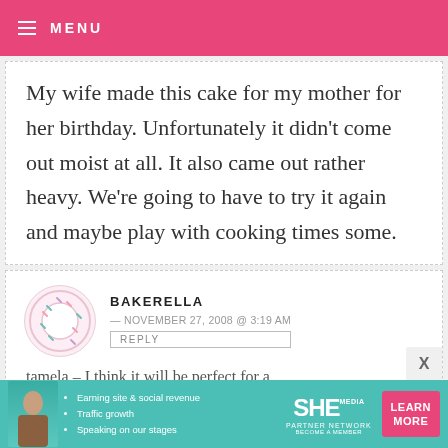MENU
My wife made this cake for my mother for her birthday. Unfortunately it didn't come out moist at all. It also came out rather heavy. We're going to have to try it again and maybe play with cooking times some.
BAKERELLA — NOVEMBER 27, 2008 @ 3:19 AM
REPLY
tamela – I think it will be perfect for a tea party :)
[Figure (infographic): SHE Partner Network advertisement banner with photo, bullet points about earning site & social revenue, traffic growth, speaking on our stages, and a Learn More button.]